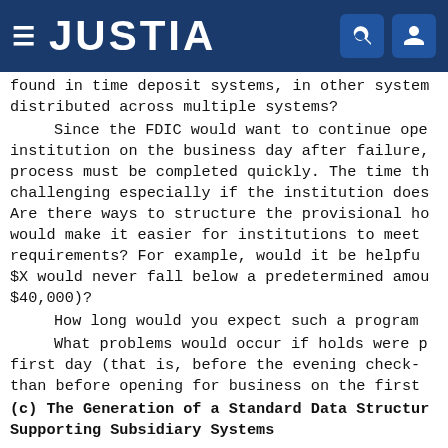JUSTIA
found in time deposit systems, in other systems distributed across multiple systems?
Since the FDIC would want to continue operating the institution on the business day after failure, the process must be completed quickly. The time this is challenging especially if the institution does not. Are there ways to structure the provisional holds that would make it easier for institutions to meet these requirements? For example, would it be helpful if $X would never fall below a predetermined amount (e.g., $40,000)?
How long would you expect such a program to last?
What problems would occur if holds were placed on the first day (that is, before the evening check-out rather than before opening for business on the first day)?
(c) The Generation of a Standard Data Structure Supporting Subsidiary Systems